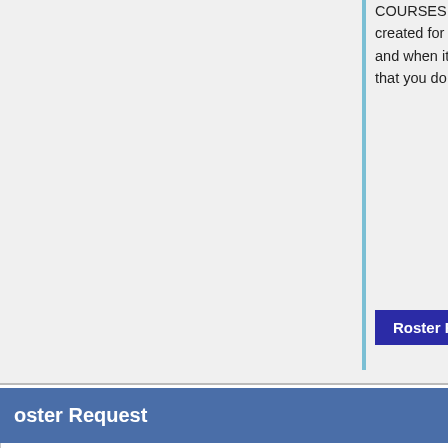COURSES. If you use this form to request your course be created for the current term it will delay the creation process and when it is created you will receive and e-mail requesting that you do not use this form for this purpose.
[Figure (screenshot): Blue button labeled 'Roster Request Form' followed by text '(Use this opt']
oster Request
[Figure (screenshot): Form with dropdown selects: 'No', 'Sakai', 'Select college', 'Select term', and a text input box]